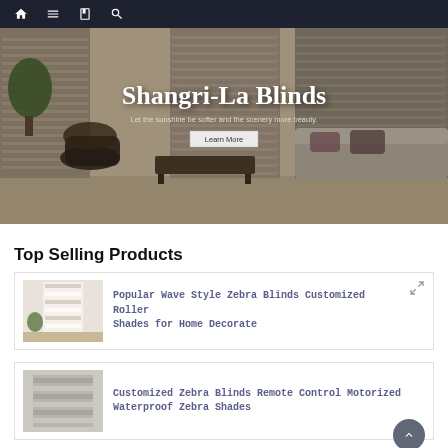Navigation bar with home, menu, book, search icons
[Figure (photo): Hero banner showing a modern living room with horizontal slatted blinds/shades on large windows, a wicker chair, gray sofa, and coffee table. Title overlay: 'Shangri-La Blinds', subtitle: 'Let the sunshine be softer and the scenery more beauty.', and a 'Learn More' button.]
Shangri-La Blinds
Let the sunshine be softer and the scenery more beauty.
Top Selling Products
Popular Wave Style Zebra Blinds Customized Roller Shades for Home Decorate
Customized Zebra Blinds Remote Control Motorized Waterproof Zebra Shades